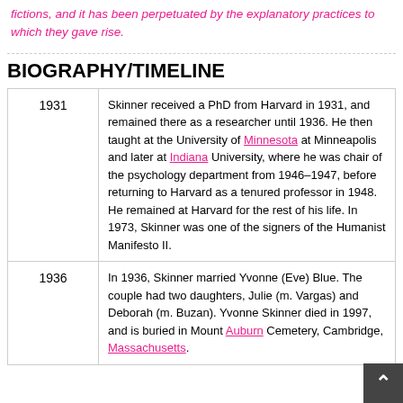fictions, and it has been perpetuated by the explanatory practices to which they gave rise.
BIOGRAPHY/TIMELINE
| Year | Event |
| --- | --- |
| 1931 | Skinner received a PhD from Harvard in 1931, and remained there as a researcher until 1936. He then taught at the University of Minnesota at Minneapolis and later at Indiana University, where he was chair of the psychology department from 1946–1947, before returning to Harvard as a tenured professor in 1948. He remained at Harvard for the rest of his life. In 1973, Skinner was one of the signers of the Humanist Manifesto II. |
| 1936 | In 1936, Skinner married Yvonne (Eve) Blue. The couple had two daughters, Julie (m. Vargas) and Deborah (m. Buzan). Yvonne Skinner died in 1997, and is buried in Mount Auburn Cemetery, Cambridge, Massachusetts. |